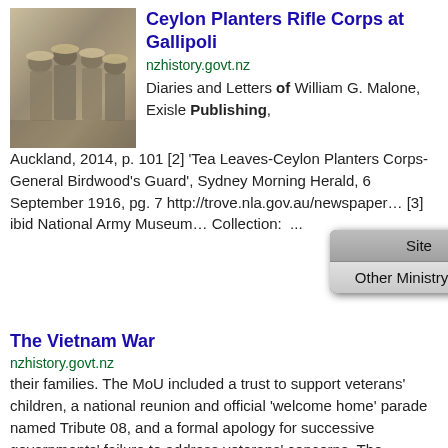Ceylon Planters Rifle Corps at Gallipoli
nzhistory.govt.nz
[Figure (photo): Black and white historical photograph of soldiers in colonial-era military uniforms and pith helmets]
Diaries and Letters of William G. Malone, Exisle Publishing, Auckland, 2014, p. 101 [2]  'Tea Leaves-Ceylon Planters Corps-General Birdwood's Guard', Sydney Morning Herald, 6 September 1916, pg. 7 http://trove.nla.gov.au/newspaper... [3] ibid National Army Museum... Collection:  ...
[Figure (screenshot): Dropdown menu overlay showing two items: 'Site' and 'Other Ministry sites']
The Vietnam War
nzhistory.govt.nz
their families. The MoU included a trust to support veterans' children, a national reunion and official 'welcome home' parade named Tribute 08, and a formal apology for successive governments' failure to address veterans' concerns. The agreement also included an oral history project and the creation of ...